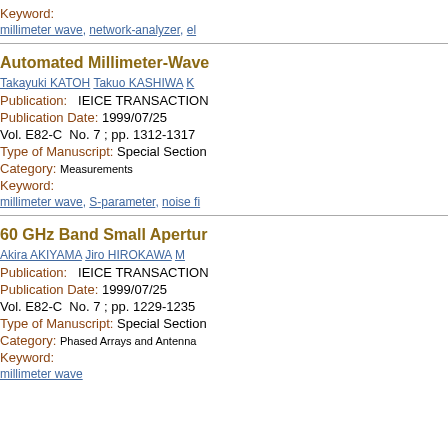Keyword:
millimeter wave, network-analyzer, el...
Automated Millimeter-Wave...
Takayuki KATOH Takuo KASHIWA K...
Publication: IEICE TRANSACTION...
Publication Date: 1999/07/25
Vol. E82-C No. 7 ; pp. 1312-1317
Type of Manuscript: Special Section...
Category: Measurements
Keyword:
millimeter wave, S-parameter, noise fi...
60 GHz Band Small Apertu...
Akira AKIYAMA Jiro HIROKAWA M...
Publication: IEICE TRANSACTION...
Publication Date: 1999/07/25
Vol. E82-C No. 7 ; pp. 1229-1235
Type of Manuscript: Special Section...
Category: Phased Arrays and Antenna...
Keyword:
millimeter wave...